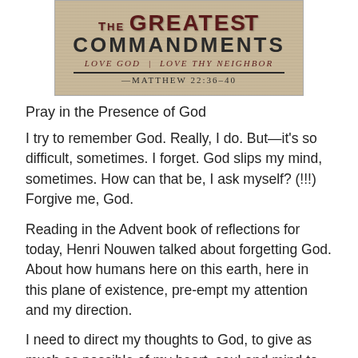[Figure (illustration): A decorative banner/sign image reading 'THE GREATEST COMMANDMENTS' with subtitle 'LOVE GOD | LOVE THY NEIGHBOR' and 'MATTHEW 22:36-40' in a vintage stone-textured style]
Pray in the Presence of God
I try to remember God. Really, I do. But—it's so difficult, sometimes. I forget. God slips my mind, sometimes. How can that be, I ask myself? (!!!) Forgive me, God.
Reading in the Advent book of reflections for today, Henri Nouwen talked about forgetting God. About how humans here on this earth, here in this plane of existence, pre-empt my attention and my direction.
I need to direct my thoughts to God, to give as much as possible of my heart, soul and mind to God. Not to have my heart, soul and mind redirected. I know, I know. It is so